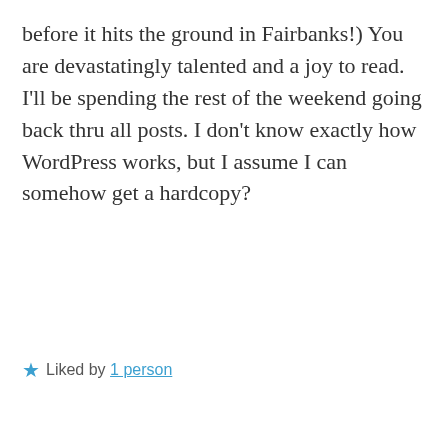before it hits the ground in Fairbanks!) You are devastatingly talented and a joy to read. I'll be spending the rest of the weekend going back thru all posts. I don't know exactly how WordPress works, but I assume I can somehow get a hardcopy?
Liked by 1 person
REPLY
Mark D Keene says: JULY 7, 2019 AT 11:37 AM
Thanks for the kind and thoughtful comments Ed. The master plan is for all this to someday get published in book form. I'll do